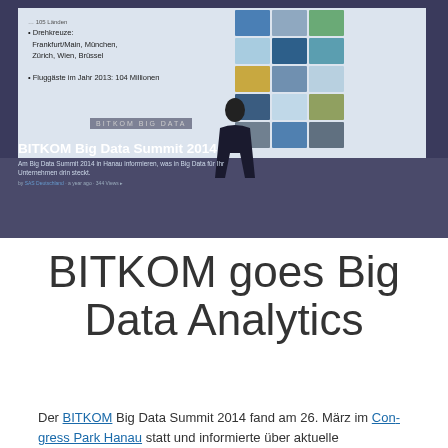[Figure (photo): Photo of a presenter at a podium in front of a projected slide showing Lufthansa route information with bullet points about hub airports (Frankfurt/Main, München, Zürich, Wien, Brüssel) and flight passengers (104 million in 2013). Overlay text reads 'BITKOM Big Data Summit 2014' with subtitle 'Am Big Data Summit 2014 in Hanau informieren, was in Big Data für Ihr Unternehmen drin steckt.' and meta info 'by SAS Deutschland · a year ago · 344 Views']
BITKOM goes Big Data Analytics
Der BITKOM Big Data Summit 2014 fand am 26. März im Congress Park Hanau statt und informierte über aktuelle